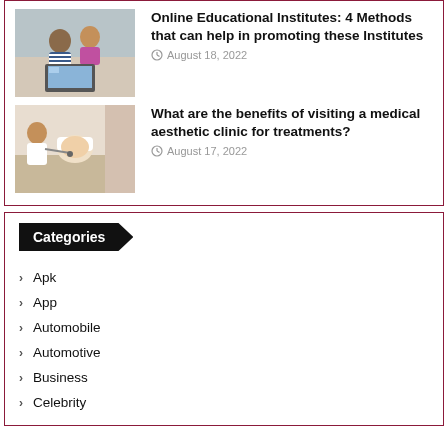[Figure (photo): Children using a laptop together]
Online Educational Institutes: 4 Methods that can help in promoting these Institutes
August 18, 2022
[Figure (photo): Medical aesthetic clinic treatment scene]
What are the benefits of visiting a medical aesthetic clinic for treatments?
August 17, 2022
Categories
Apk
App
Automobile
Automotive
Business
Celebrity